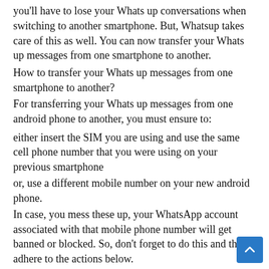you'll have to lose your Whats up conversations when switching to another smartphone. But, Whatsup takes care of this as well. You can now transfer your Whats up messages from one smartphone to another.
How to transfer your Whats up messages from one smartphone to another?
For transferring your Whats up messages from one android phone to another, you must ensure to:
either insert the SIM you are using and use the same cell phone number that you were using on your previous smartphone
or, use a different mobile number on your new android phone.
In case, you mess these up, your WhatsApp account associated with that mobile phone number will get banned or blocked. So, don't forget to do this and then, adhere to the actions below.